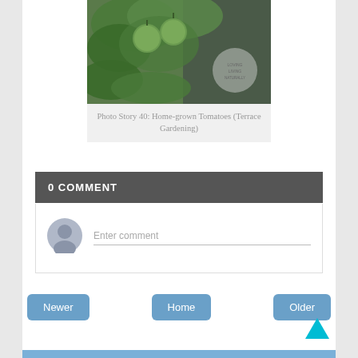[Figure (photo): Photo of home-grown green tomatoes on vine with plants and wooden fence background]
Photo Story 40: Home-grown Tomatoes (Terrace Gardening)
0 COMMENT
Enter comment
Newer
Home
Older